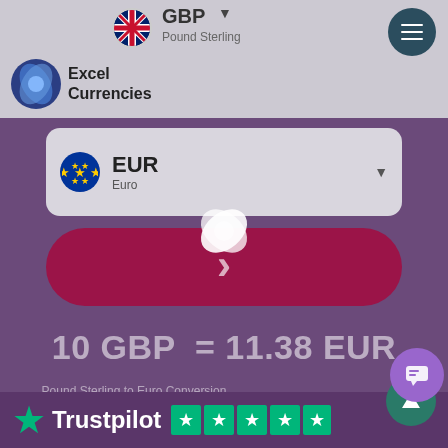[Figure (screenshot): Excel Currencies app header with GBP selector and hamburger menu]
[Figure (screenshot): EUR Euro currency selector dropdown box]
[Figure (screenshot): Red arrow/submit button]
1 GBP = 1.663680 EUR
10 GBP    = 11.38 EUR
Pound Sterling to Euro Conversion
1 EUR = 1.50675 GBP
[Figure (logo): Trustpilot logo with star rating]
[Figure (screenshot): Floating action buttons: scroll up and chat]